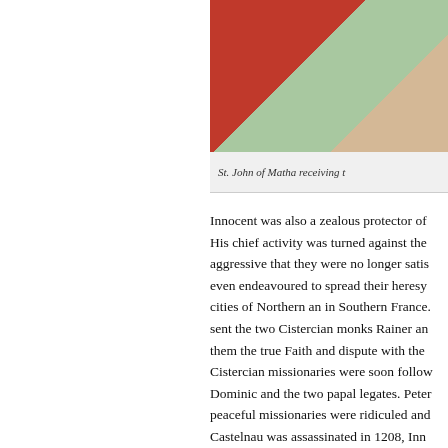[Figure (photo): St. John of Matha receiving the papal blessing, partial image cropped at right edge]
St. John of Matha receiving t
Innocent was also a zealous protector of His chief activity was turned against the aggressive that they were no longer satis even endeavoured to spread their heresy cities of Northern an in Southern France. sent the two Cistercian monks Rainer an them the true Faith and dispute with the Cistercian missionaries were soon follow Dominic and the two papal legates. Peter peaceful missionaries were ridiculed and Castelnau was assassinated in 1208, Inn Southern France to put under interdict th gave shelter to them. He was especially i had previously been excommunicated by the pope suspected as the instigator of th submitted to the pope, probably out of co